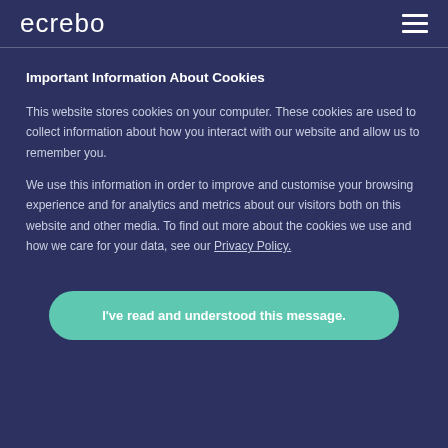ecrebo
Important Information About Cookies
This website stores cookies on your computer. These cookies are used to collect information about how you interact with our website and allow us to remember you.
We use this information in order to improve and customise your browsing experience and for analytics and metrics about our visitors both on this website and other media. To find out more about the cookies we use and how we care for your data, see our Privacy Policy.
I've read and understood this message.